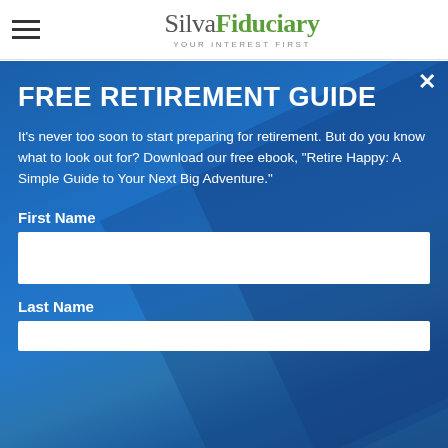Silva Fiduciary — YOUR INTEREST FIRST
FREE RETIREMENT GUIDE
It's never too soon to start preparing for retirement. But do you know what to look out for? Download our free ebook, "Retire Happy: A Simple Guide to Your Next Big Adventure."
First Name
Last Name